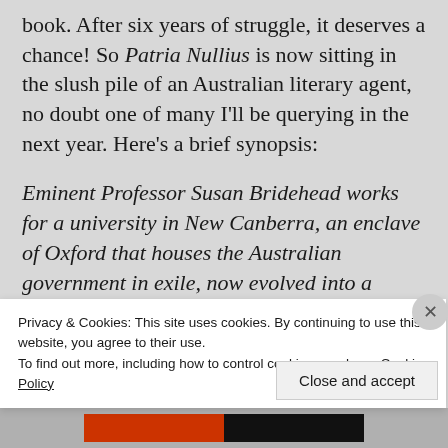book. After six years of struggle, it deserves a chance! So Patria Nullius is now sitting in the slush pile of an Australian literary agent, no doubt one of many I'll be querying in the next year. Here's a brief synopsis:
Eminent Professor Susan Bridehead works for a university in New Canberra, an enclave of Oxford that houses the Australian government in exile, now evolved into a monarchy ruled by a mining dynasty. As she completes a flattering history of
Privacy & Cookies: This site uses cookies. By continuing to use this website, you agree to their use.
To find out more, including how to control cookies, see here: Cookie Policy
Close and accept